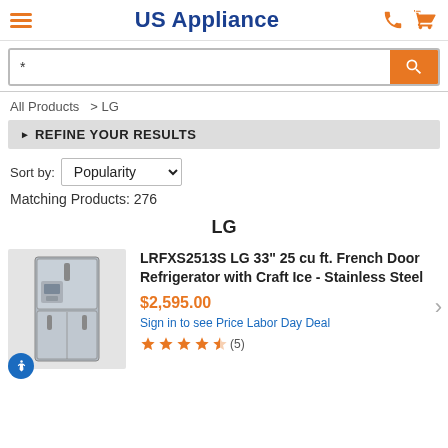US Appliance
*
All Products  > LG
REFINE YOUR RESULTS
Sort by: Popularity
Matching Products: 276
LG
[Figure (photo): LG stainless steel French door refrigerator with craft ice maker]
LRFXS2513S LG 33" 25 cu ft. French Door Refrigerator with Craft Ice - Stainless Steel
$2,595.00
Sign in to see Price Labor Day Deal
(5)